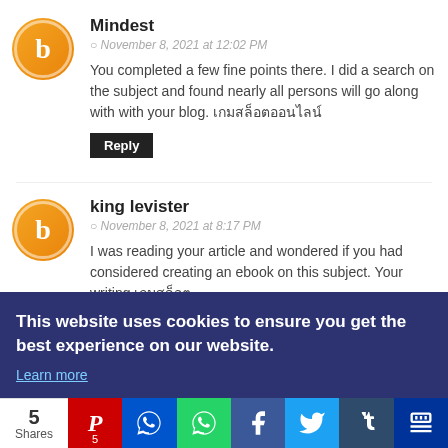Mindest
November 8, 2021 at 12:02 PM
You completed a few fine points there. I did a search on the subject and found nearly all persons will go along with with your blog. เกมสล็อตออนไลน์
Reply
king levister
November 8, 2021 at 8:17 PM
I was reading your article and wondered if you had considered creating an ebook on this subject. Your writing เกมสล็อต
This website uses cookies to ensure you get the best experience on our website.
Learn more
5 Shares